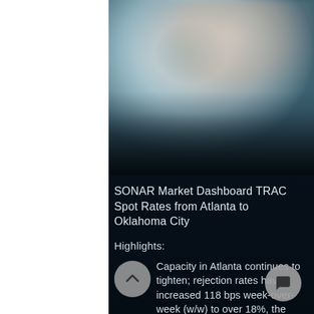[Figure (map): Blurred satellite/map image showing a region from above, with muted teal, blue, and warm tones in the upper portion. The lower portion transitions to a dark night-time satellite view of city lights.]
SONAR Market Dashboard TRAC Spot Rates from Atlanta to Oklahoma City
Highlights:
Capacity in Atlanta continues to tighten; rejection rates have increased 118 bps week-over-week (w/w) to over 18%, the highest they have been since early